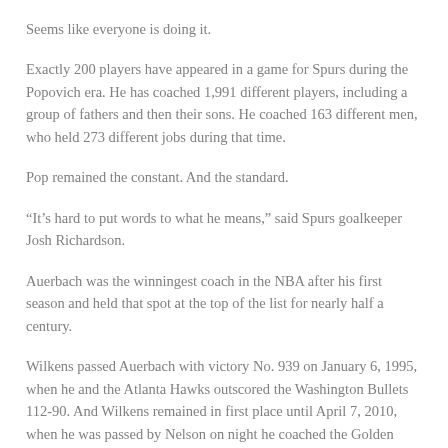Seems like everyone is doing it.
Exactly 200 players have appeared in a game for Spurs during the Popovich era. He has coached 1,991 different players, including a group of fathers and then their sons. He coached 163 different men, who held 273 different jobs during that time.
Pop remained the constant. And the standard.
“It’s hard to put words to what he means,” said Spurs goalkeeper Josh Richardson.
Auerbach was the winningest coach in the NBA after his first season and held that spot at the top of the list for nearly half a century.
Wilkens passed Auerbach with victory No. 939 on January 6, 1995, when he and the Atlanta Hawks outscored the Washington Bullets 112-90. And Wilkens remained in first place until April 7, 2010, when he was passed by Nelson on night he coached the Golden Sta…